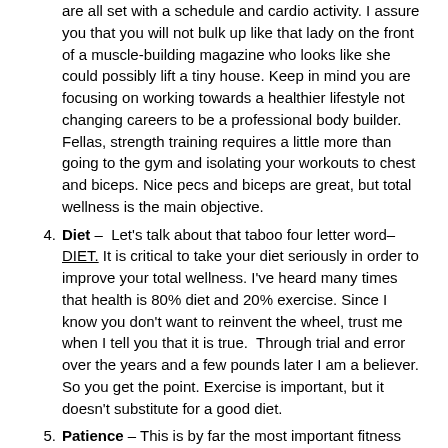are all set with a schedule and cardio activity. I assure you that you will not bulk up like that lady on the front of a muscle-building magazine who looks like she could possibly lift a tiny house. Keep in mind you are focusing on working towards a healthier lifestyle not changing careers to be a professional body builder. Fellas, strength training requires a little more than going to the gym and isolating your workouts to chest and biceps. Nice pecs and biceps are great, but total wellness is the main objective.
Diet – Let's talk about that taboo four letter word–DIET. It is critical to take your diet seriously in order to improve your total wellness. I've heard many times that health is 80% diet and 20% exercise. Since I know you don't want to reinvent the wheel, trust me when I tell you that it is true. Through trial and error over the years and a few pounds later I am a believer. So you get the point. Exercise is important, but it doesn't substitute for a good diet.
Patience – This is by far the most important fitness tip. BE PATIENT. This did not happen overnight and it will not reverse overnight. Just because you worked out, ate clean, went to bed, woke up and still can't fit in those jeans, it doesn't mean it isn't working. Stay the...